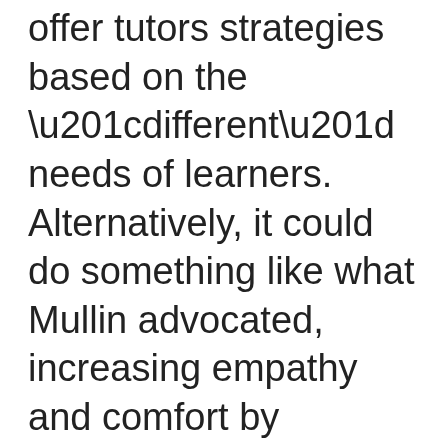offer tutors strategies based on the “different” needs of learners. Alternatively, it could do something like what Mullin advocated, increasing empathy and comfort by emphasizing UDL strategies that work in all tutoring situations. I hope that readers, especially educators, whether they work in writing centers or not, might reflect on their own assumptions about people with learning disabilities and